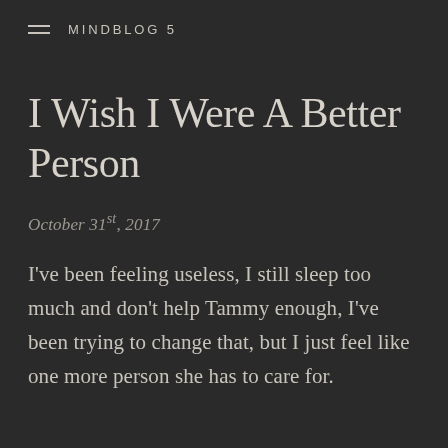MINDBLOG 5
I Wish I Were A Better Person
October 31st, 2017
I've been feeling useless, I still sleep too much and don't help Tammy enough, I've been trying to change that, but I just feel like one more person she has to care for.